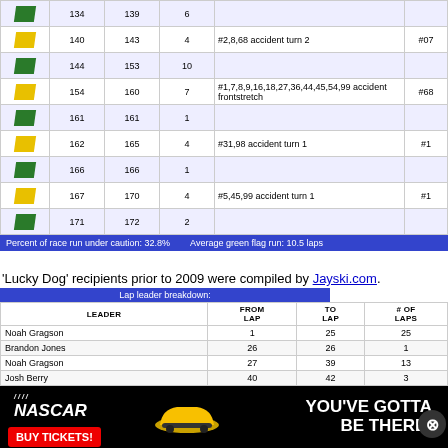| Flag | From Lap | To Lap | # Laps | Notes | Lead Car |
| --- | --- | --- | --- | --- | --- |
| green | 134 | 139 | 6 |  |  |
| yellow | 140 | 143 | 4 | #2,8,68 accident turn 2 | #07 |
| green | 144 | 153 | 10 |  |  |
| yellow | 154 | 160 | 7 | #1,7,8,9,16,18,27,36,44,45,54,99 accident frontstretch | #68 |
| green | 161 | 161 | 1 |  |  |
| yellow | 162 | 165 | 4 | #31,98 accident turn 1 | #1 |
| green | 166 | 166 | 1 |  |  |
| yellow | 167 | 170 | 4 | #5,45,99 accident turn 1 | #1 |
| green | 171 | 172 | 2 |  |  |
Percent of race run under caution: 32.8%   Average green flag run: 10.5 laps
'Lucky Dog' recipients prior to 2009 were compiled by Jayski.com.
| Leader | From Lap | To Lap | # of Laps |
| --- | --- | --- | --- |
| Noah Gragson | 1 | 25 | 25 |
| Brandon Jones | 26 | 26 | 1 |
| Noah Gragson | 27 | 39 | 13 |
| Josh Berry | 40 | 42 | 3 |
| A.J. Allmendinger | 43 | 83 | 41 |
| Sheldon Creed | 84 | 98 | 15 |
| Trevor Bayne | 99 | 100 | 2 |
| Myatt Snider | 101 | 102 | 2 |
| Trevor Bayne | 103 | 138 | 36 |
[Figure (advertisement): NASCAR 'You've Gotta Be There' ad banner with BUY TICKETS button]